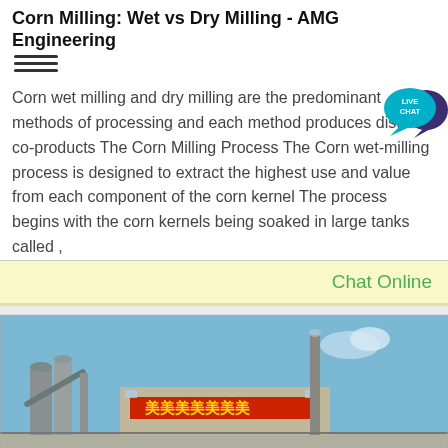Corn Milling: Wet vs Dry Milling - AMG Engineering
Corn wet milling and dry milling are the predominant methods of processing and each method produces distinct co-products The Corn Milling Process The Corn wet-milling process is designed to extract the highest use and value from each component of the corn kernel The process begins with the corn kernels being soaked in large tanks called ,
[Figure (other): Live Chat bubble icon with teal speech bubble and 'LIVE CHAT' text]
Chat Online
[Figure (photo): Industrial corn milling factory with silos, chimney stacks, and red Chinese signage against a blue sky]
Get a Quote
WhatsApp